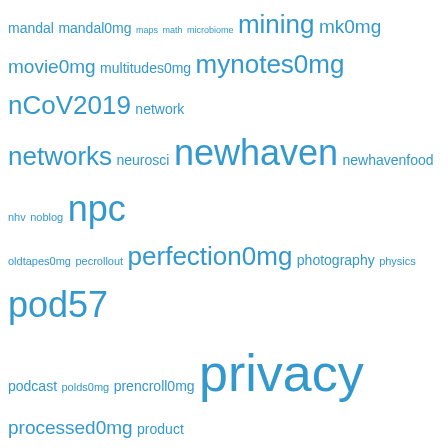[Figure (infographic): Tag cloud with words in varying sizes and shades of blue, representing frequency/importance of tags. Words include: mandal, mandal0mg, maps, math, microbiome, mining, mk0mg, movie0mg, multitudes0mg, mynotes0mg, nCoV2019, network, networks, neurosci, newhaven, newhavenfood, nhv, noblog, npc, oldtapes0mg, pecrollout, perfection0mg, photography, physics, pod57, podcast, polds0mg, prencroll0mg, privacy, processed0mg, product, pseudogene, pseudogenes, psychencode, ptech, quantifiedself, quote, rflx0mg, rnaseq, sciencemagazinefirsthalf2013, scinews, security, singlecell, sk, smg, songs0mg, spc, sports, starting, starting0mg, stats, subjectz, sync0mg, talk, tbg, tea, teaching, therm0mg, thinkingaboutreadingthisbook, to, tord, toys0mg, transcriptome, turing0mg, tweet, twitter, useful, usefulcameracomparison, vaccine0mg, viz, wearables, why0mg, wifi, wikipedia, wine, x57l, x57r, x57s, x58f, x78notcore, x78qtcore, x78retwe, x78retwee]